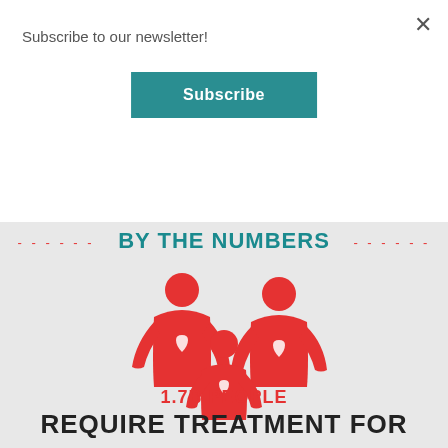Subscribe to our newsletter!
Subscribe
BY THE NUMBERS
[Figure (illustration): Three red person icons (two adults and one child) each with a white heart on their chest, representing a family requiring medical treatment]
1.7B PEOPLE
REQUIRE TREATMENT FOR